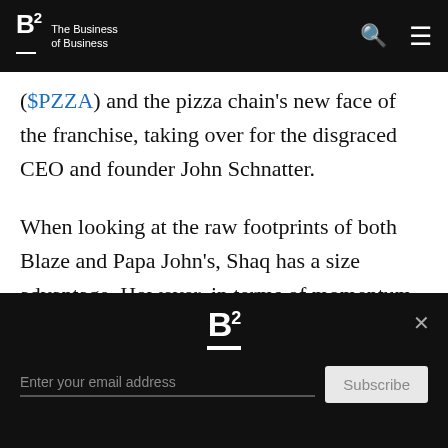The Business of Business — B2
($PZZA) and the pizza chain's new face of the franchise, taking over for the disgraced CEO and founder John Schnatter.
When looking at the raw footprints of both Blaze and Papa John's, Shaq has a size advantage. However, in terms of momentum, LeBron and Blaze are looking to torch one of the old guards (er, centers) of the United States chain pizza war.
In terms of the number of stores in population-dense
B2 — The Business of Business. Enter your email address. Subscribe.